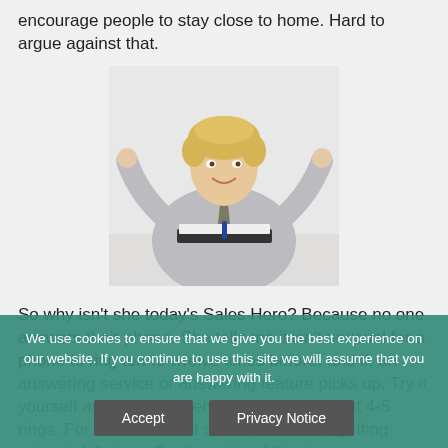encourage people to stay close to home. Hard to argue against that.
[Figure (photo): A smiling blonde woman in a gray blazer sitting at a desk with an open book and pen, raising both hands in a shrugging or celebratory gesture]
So why isn't she today's Sales Hero? Because no one answers their phone. She tells me it isn't unusual for a phone to ring ten-to-twelve times before, and if, an answering service or answering feature picks up. Try it yourself, and see if you end up dealing artsy at 4-5 rings. For a human, and see if you end up getting artsy at 4-5 rings. For the sake of "business development people everywhere," can we not issue a national, no, for that all business phones, and they answer the phone for one.
We use cookies to ensure that we give you the best experience on our website. If you continue to use this site we will assume that you are happy with it.